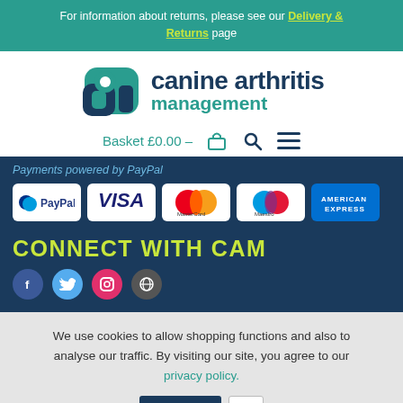For information about returns, please see our Delivery & Returns page
[Figure (logo): Canine Arthritis Management logo with stylized 'ca' letterform in teal and navy, with brand name text]
Basket £0.00 -
Payments powered by PayPal
[Figure (infographic): Payment method icons: PayPal, Visa, MasterCard, Maestro, American Express]
CONNECT WITH CAM
[Figure (infographic): Social media icons row (partially visible)]
We use cookies to allow shopping functions and also to analyse our traffic. By visiting our site, you agree to our privacy policy.
Accept  X